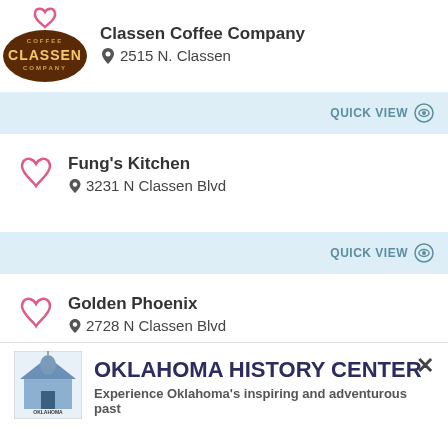[Figure (logo): Classen Coffee Company logo - brown oval with text COFFEE CLASSEN COMPANY]
Classen Coffee Company
2515 N. Classen
QUICK VIEW
Fung's Kitchen
3231 N Classen Blvd
QUICK VIEW
Golden Phoenix
2728 N Classen Blvd
[Figure (logo): Oklahoma History Center logo - building with Oklahoma History Center text]
OKLAHOMA HISTORY CENTER
Experience Oklahoma's inspiring and adventurous past